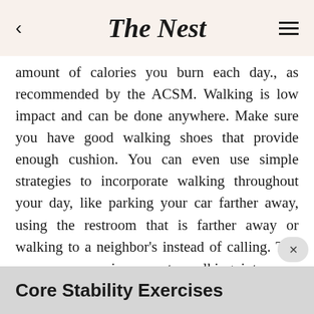The Nest
amount of calories you burn each day., as recommended by the ACSM. Walking is low impact and can be done anywhere. Make sure you have good walking shoes that provide enough cushion. You can even use simple strategies to incorporate walking throughout your day, like parking your car farther away, using the restroom that is farther away or walking to a neighbor's instead of calling. The more you can incorporate walking into your day, the more calories you will burn and the more weight you will lose.
Core Stability Exercises